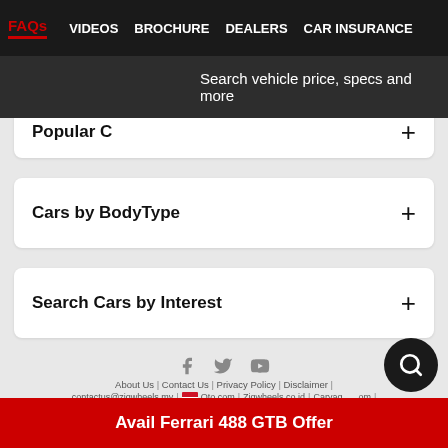FAQs | VIDEOS | BROCHURE | DEALERS | CAR INSURANCE
Search vehicle price, specs and more
Popular C...
Cars by BodyType
Search Cars by Interest
About Us | Contact Us | Privacy Policy | Disclaimer | contactus@zigwheels.my | Oto.com | Zigwheels.co.id | Carvaga...om | Zigwheels.ph | Carmudi.com.ph | Oto.com.sg | Zi... | Copyright © Zigwheels 2014-2022. All Rights Reserved.
Avail Ferrari 488 GTB Offer